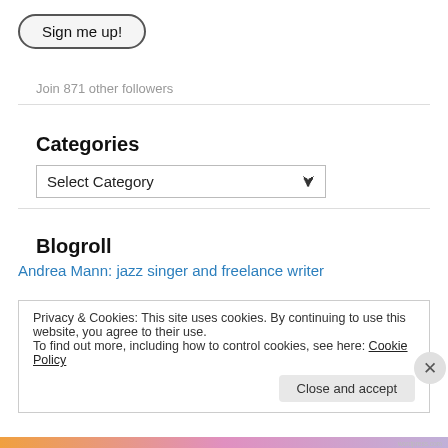[Figure (other): Sign me up! button with rounded rectangle border]
Join 871 other followers
Categories
[Figure (other): Select Category dropdown widget]
Blogroll
Andrea Mann: jazz singer and freelance writer
Privacy & Cookies: This site uses cookies. By continuing to use this website, you agree to their use.
To find out more, including how to control cookies, see here: Cookie Policy
Close and accept